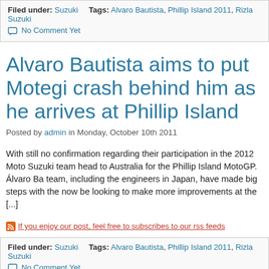Filed under: Suzuki   Tags: Alvaro Bautista, Phillip Island 2011, Rizla Suzuki
No Comment Yet
Alvaro Bautista aims to put Motegi crash behind him as he arrives at Phillip Island
Posted by admin in Monday, October 10th 2011
With still no confirmation regarding their participation in the 2012 Moto... Suzuki team head to Australia for the Phillip Island MotoGP. Álvaro Ba... team, including the engineers in Japan, have made big steps with the ... now be looking to make more improvements at the [...]
If you enjoy our post, feel free to subscribes to our rss feeds
Filed under: Suzuki   Tags: Alvaro Bautista, Phillip Island 2011, Rizla Suzuki
No Comment Yet
Bautista vows to "fight from the